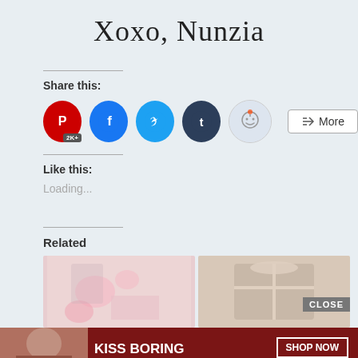Xoxo, Nunzia
Share this:
[Figure (infographic): Social share buttons: Pinterest (2K+), Facebook, Twitter, Tumblr, Reddit, and a More button]
Like this:
Loading...
Related
[Figure (photo): Two partial related article thumbnails showing Valentine/gift imagery, with a Macy's lip product advertisement banner at the bottom with CLOSE button]